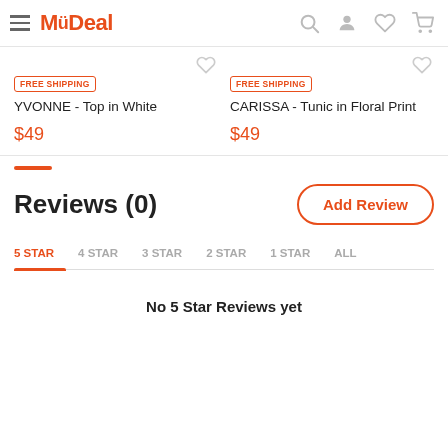MyDeal
FREE SHIPPING
YVONNE - Top in White
$49
FREE SHIPPING
CARISSA - Tunic in Floral Print
$49
Reviews (0)
5 STAR  4 STAR  3 STAR  2 STAR  1 STAR  ALL
No 5 Star Reviews yet